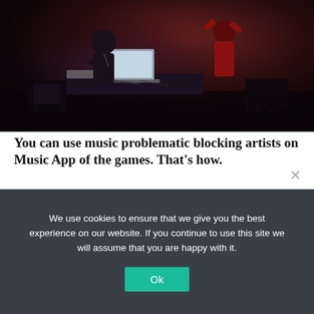[Figure (photo): Two performers on a dark stage with red lighting. One stands behind a DJ setup with a laptop, another raises both arms in a red jacket.]
You can use music problematic blocking artists on Music App of the games. That's how.
If you are fond of music streaming, custom playlists and mixes made "just for you," You have no doubt, goes wrong in a boring and...
NETLEAK
AUGUST 28, 2020
We use cookies to ensure that we give you the best experience on our website. If you continue to use this site we will assume that you are happy with it.